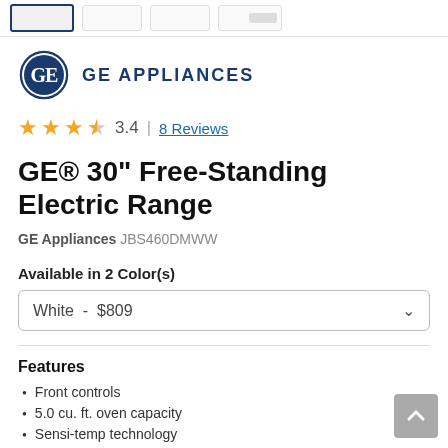[Figure (logo): GE Appliances logo — blue circular GE monogram with 'GE APPLIANCES' text in dark blue capitals]
3.4  |  8 Reviews
GE® 30" Free-Standing Electric Range
GE Appliances JBS460DMWW
Available in 2 Color(s)
White  -  $809
Features
Front controls
5.0 cu. ft. oven capacity
Sensi-temp technology
Dual-element Bake